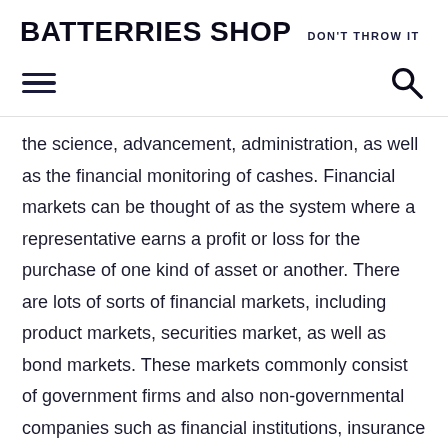BATTERRIES SHOP DON'T THROW IT
the science, advancement, administration, as well as the financial monitoring of cashes. Financial markets can be thought of as the system where a representative earns a profit or loss for the purchase of one kind of asset or another. There are lots of sorts of financial markets, including product markets, securities market, as well as bond markets. These markets commonly consist of government firms and also non-governmental companies such as financial institutions, insurance companies, and also mutual funds.